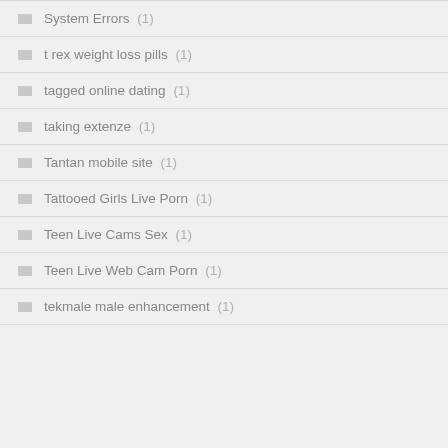System Errors (1)
t rex weight loss pills (1)
tagged online dating (1)
taking extenze (1)
Tantan mobile site (1)
Tattooed Girls Live Porn (1)
Teen Live Cams Sex (1)
Teen Live Web Cam Porn (1)
tekmale male enhancement (1)